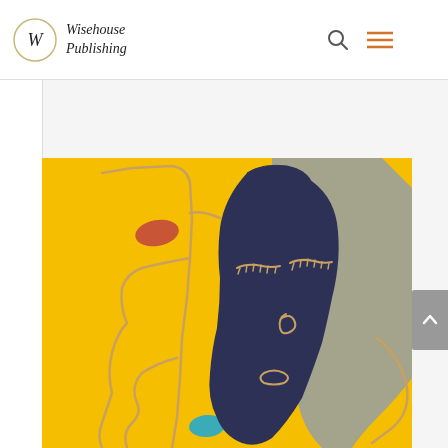Wisehouse Publishing
[Figure (illustration): Abstract art illustration on yellow background featuring two stylized faces drawn with continuous line art. Left face is outlined in tan/beige with a red teardrop/eye shape and a teal teardrop at bottom. Right face is a dark navy blue filled silhouette with closed eyes, spiral nose, and lips, with a grey-blue rectangular shape in the background. Yellow background throughout.]